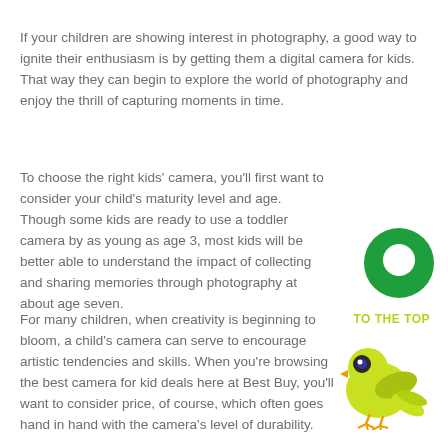If your children are showing interest in photography, a good way to ignite their enthusiasm is by getting them a digital camera for kids. That way they can begin to explore the world of photography and enjoy the thrill of capturing moments in time.
To choose the right kids' camera, you'll first want to consider your child's maturity level and age. Though some kids are ready to use a toddler camera by as young as age 3, most kids will be better able to understand the impact of collecting and sharing memories through photography at about age seven.
[Figure (illustration): Green circle with a white speech bubble/chat icon inside]
For many children, when creativity is beginning to bloom, a child's camera can serve to encourage artistic tendencies and skills. When you're browsing the best camera for kid deals here at Best Buy, you'll want to consider price, of course, which often goes hand in hand with the camera's level of durability.
[Figure (illustration): Yellow-green cartoon bird with 'TO THE TOP' text above it]